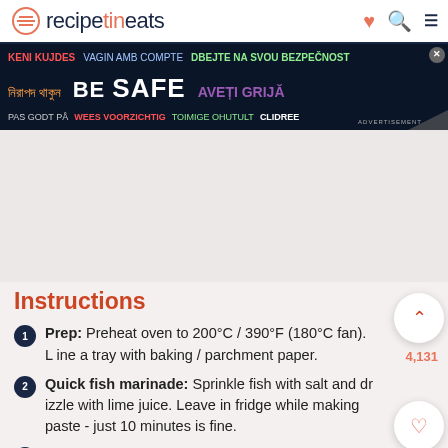recipetineats
[Figure (screenshot): Advertisement banner with multilingual 'BE SAFE' message on dark background]
Instructions
Prep: Preheat oven to 200°C / 390°F (180°C fan). Line a tray with baking / parchment paper.
Quick fish marinade: Sprinkle fish with salt and drizzle with lime juice. Leave in fridge while making paste - just 10 minutes is fine.
Turmeric Curry Paste: Place ingredients in a container